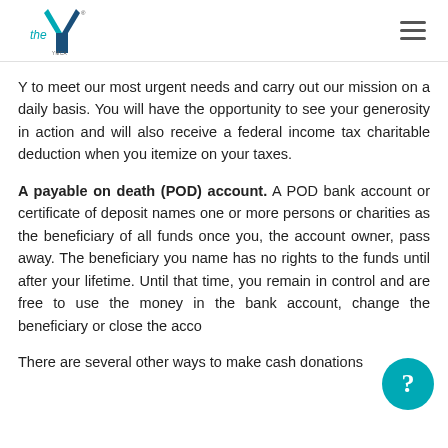YMCA logo and navigation menu
Y to meet our most urgent needs and carry out our mission on a daily basis. You will have the opportunity to see your generosity in action and will also receive a federal income tax charitable deduction when you itemize on your taxes.
A payable on death (POD) account. A POD bank account or certificate of deposit names one or more persons or charities as the beneficiary of all funds once you, the account owner, pass away. The beneficiary you name has no rights to the funds until after your lifetime. Until that time, you remain in control and are free to use the money in the bank account, change the beneficiary or close the acco
There are several other ways to make cash donations